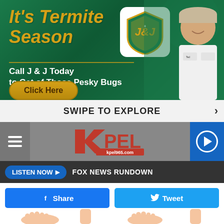[Figure (infographic): J&J Termite pest control advertisement banner with green background. Shows italic gold text 'It's Termite Season', J&J shield logo, subtext 'Call J & J Today to Get of Those Pesky Bugs', and a 'Click Here' button. Man in white shirt on right side.]
SWIPE TO EXPLORE
[Figure (logo): KPEL 96.5 radio station navigation bar with hamburger menu on left, KPEL logo in center, and play button on right]
LISTEN NOW ▶  FOX NEWS RUNDOWN
f  Share
Tweet
[Figure (illustration): Cartoon illustration of human feet at bottom of page]